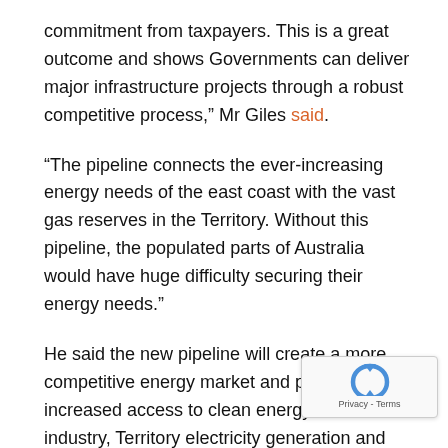commitment from taxpayers. This is a great outcome and shows Governments can deliver major infrastructure projects through a robust competitive process," Mr Giles said.
“The pipeline connects the ever-increasing energy needs of the east coast with the vast gas reserves in the Territory. Without this pipeline, the populated parts of Australia would have huge difficulty securing their energy needs.”
He said the new pipeline will create a more competitive energy market and provide increased access to clean energy for local industry, Territory electricity generation and the eastern Australian gas market in general.
“The NEGI also further enhances the Territory’s reputa... leading the development of Northern Australia and wil...